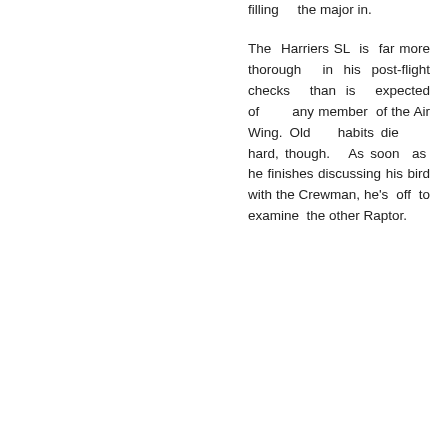filling the major in.
The Harriers SL is far more thorough in his post-flight checks than is expected of any member of the Air Wing. Old habits die hard, though. As soon as he finishes discussing his bird with the Crewman, he's off to examine the other Raptor.